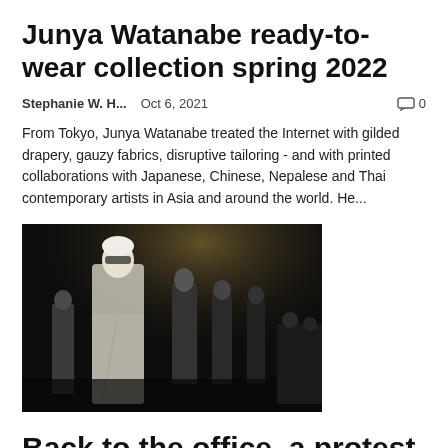Junya Watanabe ready-to-wear collection spring 2022
Stephanie W. H...   Oct 6, 2021   💬 0
From Tokyo, Junya Watanabe treated the Internet with gilded drapery, gauzy fabrics, disruptive tailoring - and with printed collaborations with Japanese, Chinese, Nepalese and Thai contemporary artists in Asia and around the world. He...
[Figure (photo): Fashion show runway photo, model in flowing pale dress, dark formal setting with other models and audience in background]
Back to the office, a protest and